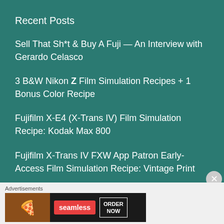Recent Posts
Sell That Sh*t & Buy A Fuji — An Interview with Gerardo Celasco
3 B&W Nikon Z Film Simulation Recipes + 1 Bonus Color Recipe
Fujifilm X-E4 (X-Trans IV) Film Simulation Recipe: Kodak Max 800
Fujifilm X-Trans IV FXW App Patron Early-Access Film Simulation Recipe: Vintage Print
Advertisements
[Figure (other): Seamless food delivery advertisement banner showing pizza image, Seamless logo in red, and ORDER NOW button]